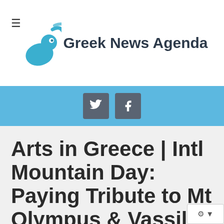Greek News Agenda
[Figure (logo): Greek News Agenda logo with a teal stylized bird/signal icon and bold dark text 'Greek News Agenda']
[Figure (infographic): Light blue bar with Twitter and Facebook social share buttons (dark gray rounded squares with white icons)]
Arts in Greece | Intl Mountain Day: Paying Tribute to Mt Olympus & Vassilis Ithakissios, the Olympian Artist
Towering, majestic, and beautiful. Mountains are some of the most fascinating structures of nature